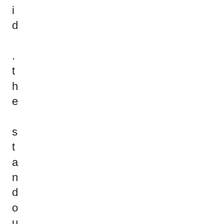id .the standout feature of crypt